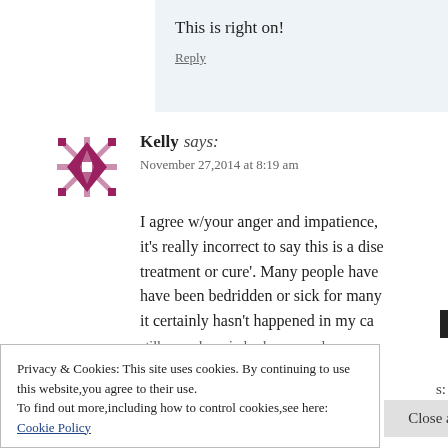This is right on!
Reply
Kelly says:
November 27,2014 at 8:19 am
I agree w/your anger and impatience, it’s really incorrect to say this is a dise treatment or cure’. Many people have have been bedridden or sick for many it certainly hasn’t happened in my ca still many have indeed recovered
Privacy & Cookies: This site uses cookies. By continuing to use this website,you agree to their use. To find out more,including how to control cookies,see here: Cookie Policy
Close and accept